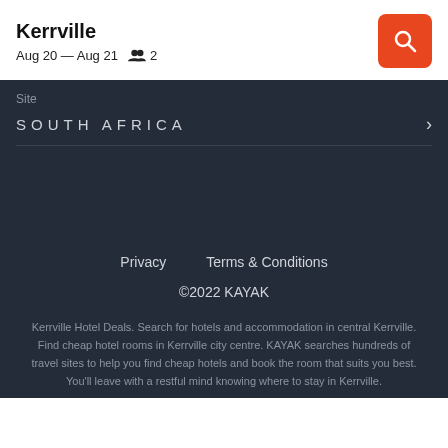Kerrville
Aug 20 — Aug 21   2
Site
SOUTH AFRICA
Privacy   Terms & Conditions
©2022 KAYAK
Kerrville Hotel Deals. Search for hotels and accommodation in central Kerrville. Find cheap hotel rooms in Kerrville city centre. KAYAK searches hundreds of travel sites to help you find cheap hotels and book the room that suits you best. You'll leave with a restful mind knowing where to stay in Kerrville.